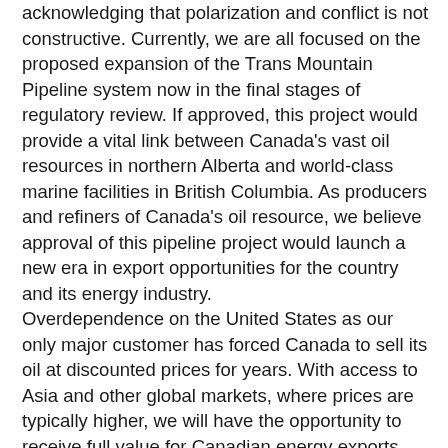acknowledging that polarization and conflict is not constructive. Currently, we are all focused on the proposed expansion of the Trans Mountain Pipeline system now in the final stages of regulatory review. If approved, this project would provide a vital link between Canada's vast oil resources in northern Alberta and world-class marine facilities in British Columbia. As producers and refiners of Canada's oil resource, we believe approval of this pipeline project would launch a new era in export opportunities for the country and its energy industry.
Overdependence on the United States as our only major customer has forced Canada to sell its oil at discounted prices for years. With access to Asia and other global markets, where prices are typically higher, we will have the opportunity to receive full value for Canadian energy exports. Approval of the Trans Mountain expansion project will benefit more than just the producers who plan to ship oil on the pipeline. It will provide significant economic potential for the entire country. The construction and long-term operation of this key infrastructure project will provide lasting benefits for all Canadians.
Assessments from a number of independent financial institutions have concluded that Canada is missing out on billions of dollars a